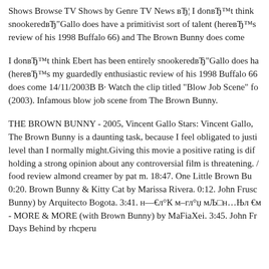Shows Browse TV Shows by Genre TV News вЂ¦ I donвЂ™t think snookeredвЂ"Gallo does have a primitivist sort of talent (hereвЂ™s review of his 1998 Buffalo 66) and The Brown Bunny does come
I donвЂ™t think Ebert has been entirely snookeredвЂ"Gallo does ha (hereвЂ™s my guardedly enthusiastic review of his 1998 Buffalo 66 does come 14/11/2003В В· Watch the clip titled "Blow Job Scene" fo (2003). Infamous blow job scene from The Brown Bunny.
THE BROWN BUNNY - 2005, Vincent Gallo Stars: Vincent Gallo, The Brown Bunny is a daunting task, because I feel obligated to justi level than I normally might.Giving this movie a positive rating is dif holding a strong opinion about any controversial film is threatening. / food review almond creamer by pat m. 18:47. One Little Brown Bu 0:20. Brown Bunny & Kitty Cat by Marissa Rivera. 0:12. John Frusc Bunny) by Arquitecto Bogota. 3:41. н—€л°К м–гл° џ мЉ□н…Њл €м - MORE & MORE (with Brown Bunny) by MaFiaXei. 3:45. John Fr Days Behind by rhcperu